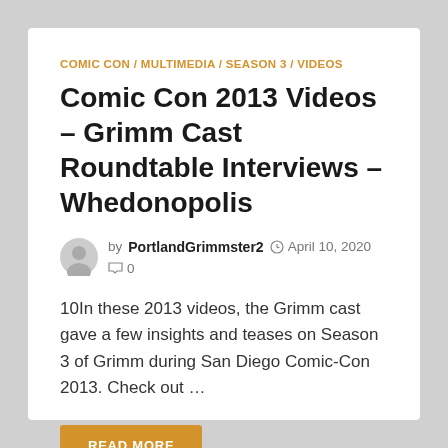COMIC CON / MULTIMEDIA / SEASON 3 / VIDEOS
Comic Con 2013 Videos – Grimm Cast Roundtable Interviews – Whedonopolis
by PortlandGrimmster2  April 10, 2020  0
10In these 2013 videos, the Grimm cast gave a few insights and teases on Season 3 of Grimm during San Diego Comic-Con 2013. Check out …
READ MORE